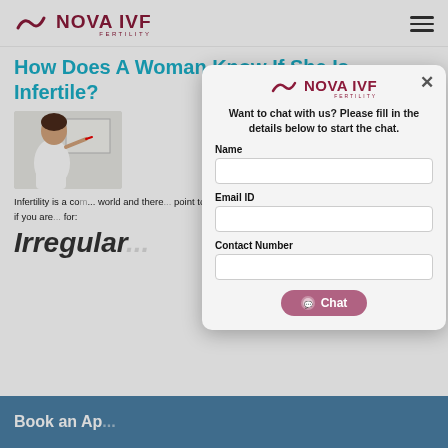NOVA IVF FERTILITY
How Does A Woman Know If She Is Infertile?
[Figure (photo): Photo of a woman (doctor/professional) pointing at a board, with short dark hair, wearing a white coat]
Infertility is a common problem worldwide and there are signs that point towards infertility. In cases where no such signs exist, presence of these signs help you know if you are infertile. Look for:
Irregular
Book an Ap...
[Figure (screenshot): Modal popup from Nova IVF Fertility with a chat form requesting Name, Email ID, and Contact Number]
Want to chat with us? Please fill in the details below to start the chat.
Name
Email ID
Contact Number